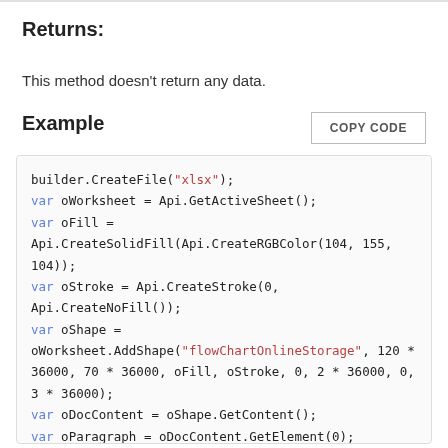Returns:
This method doesn't return any data.
Example
COPY CODE
builder.CreateFile("xlsx");
var oWorksheet = Api.GetActiveSheet();
var oFill =
Api.CreateSolidFill(Api.CreateRGBColor(104, 155,
104));
var oStroke = Api.CreateStroke(0,
Api.CreateNoFill());
var oShape =
oWorksheet.AddShape("flowChartOnlineStorage", 120 *
36000, 70 * 36000, oFill, oStroke, 0, 2 * 36000, 0,
3 * 36000);
var oDocContent = oShape.GetContent();
var oParagraph = oDocContent.GetElement(0);
oParagraph.AddText("This is a paragraph with the
text in it aligned by the center. ");
oParagraph.AddText("These sentences are used to add